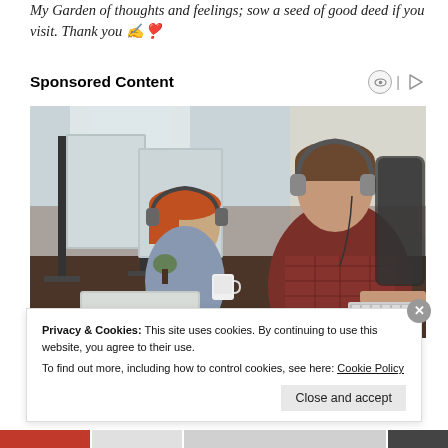My Garden of thoughts and feelings; sow a seed of good deed if you visit. Thank you ✍️❣️
Sponsored Content
[Figure (photo): Two office workers wearing headphones sitting at desks with computer monitors. A man in a plaid shirt is in the foreground typing on a keyboard, and a woman with headphones is in the background also working at a computer.]
Privacy & Cookies: This site uses cookies. By continuing to use this website, you agree to their use.
To find out more, including how to control cookies, see here: Cookie Policy